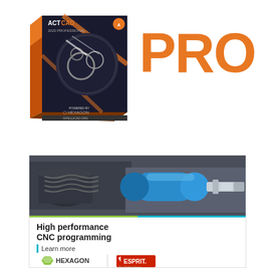[Figure (illustration): ActCAD 2022 Professional software box with orange and dark design featuring mechanical gears imagery and Hexagon logo]
PRO
[Figure (photo): High performance CNC machining advertisement banner showing a CNC tool/spindle in metallic and blue colors, with Hexagon and Esprit logos and text 'High performance CNC programming | Learn more']